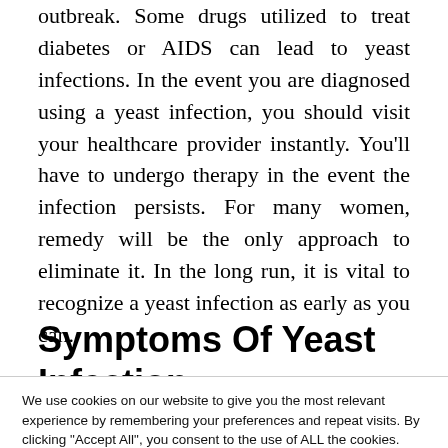outbreak. Some drugs utilized to treat diabetes or AIDS can lead to yeast infections. In the event you are diagnosed using a yeast infection, you should visit your healthcare provider instantly. You'll have to undergo therapy in the event the infection persists. For many women, remedy will be the only approach to eliminate it. In the long run, it is vital to recognize a yeast infection as early as you can.
Symptoms Of Yeast Infection
We use cookies on our website to give you the most relevant experience by remembering your preferences and repeat visits. By clicking "Accept All", you consent to the use of ALL the cookies. However, you may visit "Cookie Settings" to provide a controlled consent.